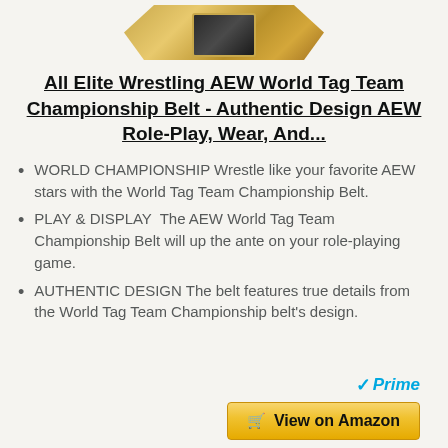[Figure (photo): Partial view of AEW World Tag Team Championship Belt at top of page]
All Elite Wrestling AEW World Tag Team Championship Belt - Authentic Design AEW Role-Play, Wear, And...
WORLD CHAMPIONSHIP Wrestle like your favorite AEW stars with the World Tag Team Championship Belt.
PLAY & DISPLAY  The AEW World Tag Team Championship Belt will up the ante on your role-playing game.
AUTHENTIC DESIGN The belt features true details from the World Tag Team Championship belt's design.
[Figure (logo): Amazon Prime logo with blue checkmark and Prime text in blue italic]
View on Amazon